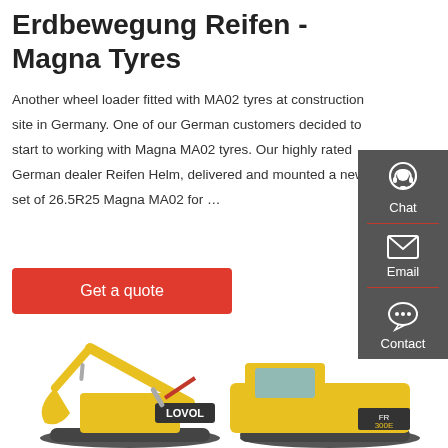Erdbewegung Reifen - Magna Tyres
Another wheel loader fitted with MA02 tyres at construction site in Germany. One of our German customers decided to start to working with Magna MA02 tyres. Our highly rated German dealer Reifen Helm, delivered and mounted a new set of 26.5R25 Magna MA02 for …
[Figure (other): Red 'Get a quote' button]
[Figure (other): Sidebar with Chat, Email, and Contact icons on dark grey background]
[Figure (photo): Yellow Lovol excavator (crawler type, model FR300E) on white background]